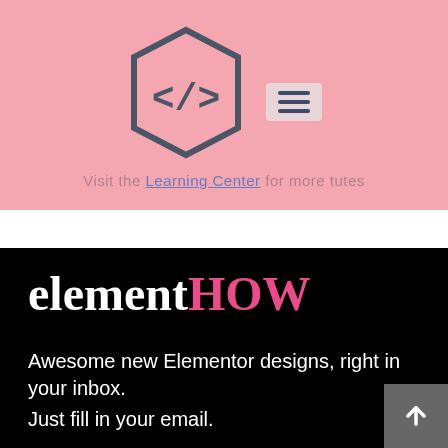[Figure (logo): Code hexagon logo with </> symbol inside a hexagonal border, and a hamburger menu icon to the right, on pink background]
Visit the Learning Center for more tutes
elementHOW
Awesome new Elementor designs, right in your inbox.
Just fill in your email.